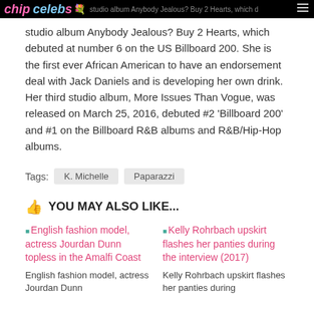chip celebs [icon] studio album Anybody Jealous? Buy 2 Hearts which debuted at number 6 on the US Billboard 200.
studio album Anybody Jealous? Buy 2 Hearts, which debuted at number 6 on the US Billboard 200. She is the first ever African American to have an endorsement deal with Jack Daniels and is developing her own drink. Her third studio album, More Issues Than Vogue, was released on March 25, 2016, debuted #2 'Billboard 200' and #1 on the Billboard R&B albums and R&B/Hip-Hop albums.
Tags: K. Michelle  Paparazzi
YOU MAY ALSO LIKE...
English fashion model, actress Jourdan Dunn topless in the Amalfi Coast
Kelly Rohrbach upskirt flashes her panties during the interview (2017)
English fashion model, actress Jourdan Dunn
Kelly Rohrbach upskirt flashes her panties during